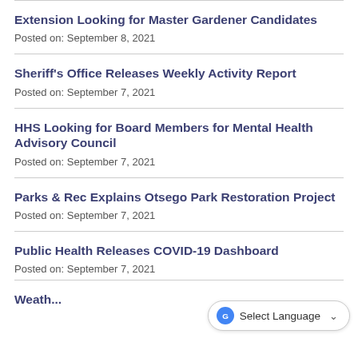Extension Looking for Master Gardener Candidates
Posted on: September 8, 2021
Sheriff's Office Releases Weekly Activity Report
Posted on: September 7, 2021
HHS Looking for Board Members for Mental Health Advisory Council
Posted on: September 7, 2021
Parks & Rec Explains Otsego Park Restoration Project
Posted on: September 7, 2021
Public Health Releases COVID-19 Dashboard
Posted on: September 7, 2021
Weath...